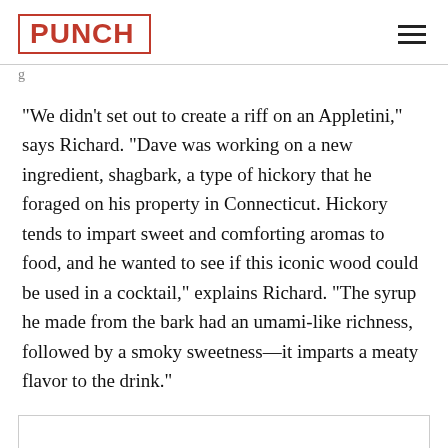PUNCH
“We didn’t set out to create a riff on an Appletini,” says Richard. “Dave was working on a new ingredient, shagbark, a type of hickory that he foraged on his property in Connecticut. Hickory tends to impart sweet and comforting aromas to food, and he wanted to see if this iconic wood could be used in a cocktail,” explains Richard. “The syrup he made from the bark had an umami-like richness, followed by a smoky sweetness—it imparts a meaty flavor to the drink.”